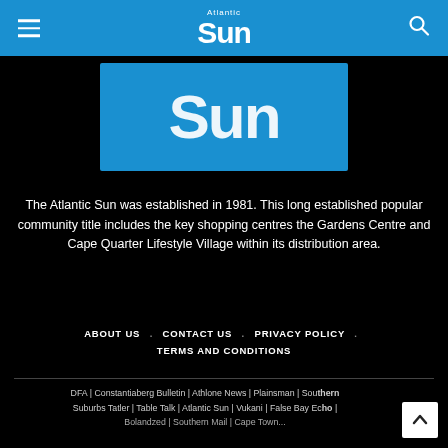Atlantic Sun
[Figure (logo): Atlantic Sun newspaper logo on blue background, large white 'Sun' text]
The Atlantic Sun was established in 1981. This long established popular community title includes the key shopping centres the Gardens Centre and Cape Quarter Lifestyle Village within its distribution area.
ABOUT US . CONTACT US . PRIVACY POLICY . TERMS AND CONDITIONS
DFA | Constantiaberg Bulletin | Athlone News | Plainsman | Southern Suburbs Tatler | Table Talk | Atlantic Sun | Vukani | False Bay Echo | ...